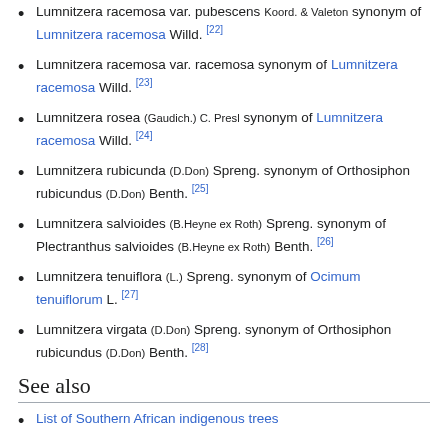Lumnitzera racemosa var. pubescens Koord. & Valeton synonym of Lumnitzera racemosa Willd. [22]
Lumnitzera racemosa var. racemosa synonym of Lumnitzera racemosa Willd. [23]
Lumnitzera rosea (Gaudich.) C. Presl synonym of Lumnitzera racemosa Willd. [24]
Lumnitzera rubicunda (D.Don) Spreng. synonym of Orthosiphon rubicundus (D.Don) Benth. [25]
Lumnitzera salvioides (B.Heyne ex Roth) Spreng. synonym of Plectranthus salvioides (B.Heyne ex Roth) Benth. [26]
Lumnitzera tenuiflora (L.) Spreng. synonym of Ocimum tenuiflorum L. [27]
Lumnitzera virgata (D.Don) Spreng. synonym of Orthosiphon rubicundus (D.Don) Benth. [28]
See also
List of Southern African indigenous trees
References